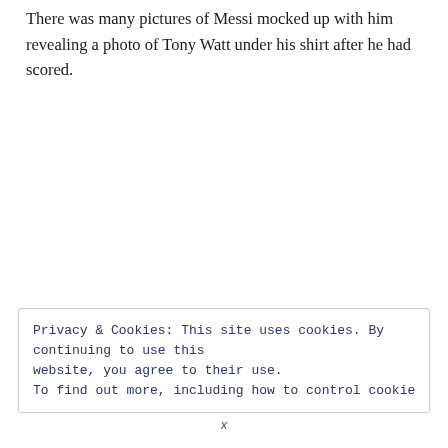There was many pictures of Messi mocked up with him revealing a photo of Tony Watt under his shirt after he had scored.
Privacy & Cookies: This site uses cookies. By continuing to use this website, you agree to their use. To find out more, including how to control cookies, see here: Cookie